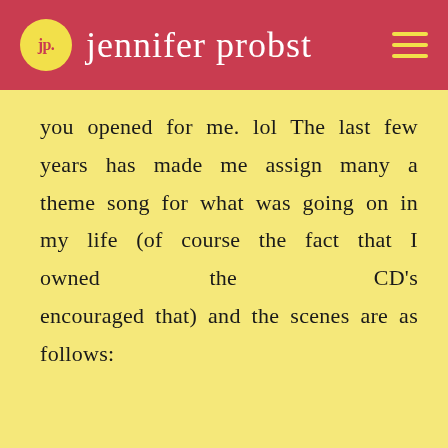jp. jennifer probst
you opened for me. lol The last few years has made me assign many a theme song for what was going on in my life (of course the fact that I owned the CD's encouraged that) and the scenes are as follows: